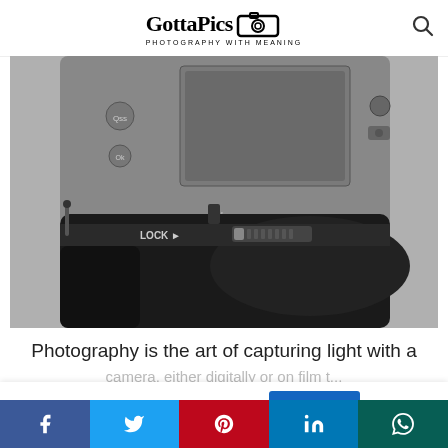GottaPics PHOTOGRAPHY WITH MEANING
[Figure (photo): Close-up photo of a Nikon DSLR camera body with a battery grip attached. The grip shows a LOCK lever and control buttons. The camera back is visible with LCD screen and controls.]
Photography is the art of capturing light with a camera, either digitally or on film t...
This website uses cookies.
Accept
Facebook | Twitter | Pinterest | LinkedIn | WhatsApp